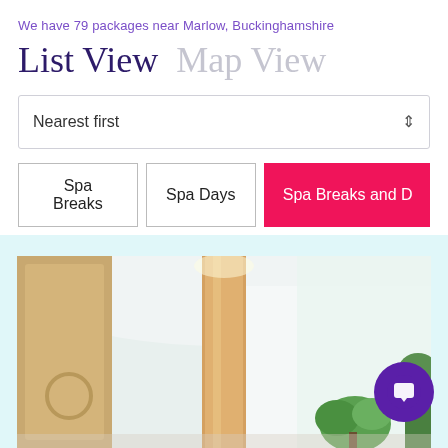We have 79 packages near Marlow, Buckinghamshire
List View   Map View
Nearest first
Spa Breaks
Spa Days
Spa Breaks and D...
[Figure (photo): Interior of a modern spa lobby with wooden door, cylindrical column, potted plant, and large windows with natural light.]